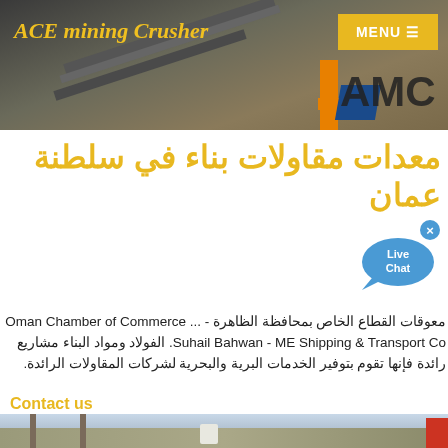ACE mining Crusher
[Figure (photo): Industrial mining/crushing facility with conveyor belts and equipment, AMC logo visible in lower right]
معدات مقاولات بناء في سلطنة عمان
[Figure (illustration): Live Chat speech bubble icon with X close button]
معوقات القطاع الخاص بمحافظة الظاهرة - Oman Chamber of Commerce ... Suhail Bahwan - ME Shipping & Transport Co. الفولاد ومواد البناء مشاريع رائدة فإنها تقوم بتوفير الخدمات البرية والبحرية لشركات المقاولات الرائدة.
Contact us
[Figure (photo): Construction site with crane and excavator equipment visible]